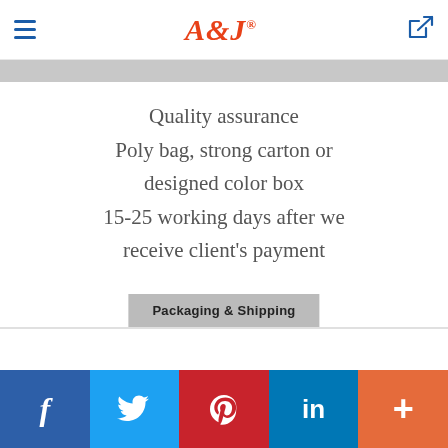A&j® — navigation header with hamburger menu and share icon
Quality assurance
Poly bag, strong carton or designed color box
15-25 working days after we receive client's payment
Packaging & Shipping
f  Twitter  Pinterest  in  +